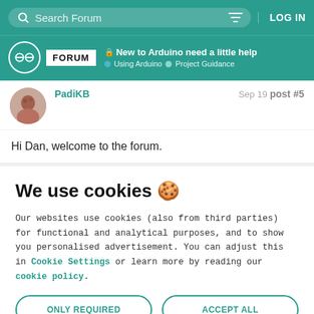Search Forum | LOG IN
New to Arduino need a little help | Using Arduino > Project Guidance
PadiKB  Sep 19  post #5
Hi Dan, welcome to the forum.
We use cookies 🍪
Our websites use cookies (also from third parties) for functional and analytical purposes, and to show you personalised advertisement. You can adjust this in Cookie Settings or learn more by reading our cookie policy.
ONLY REQUIRED | ACCEPT ALL